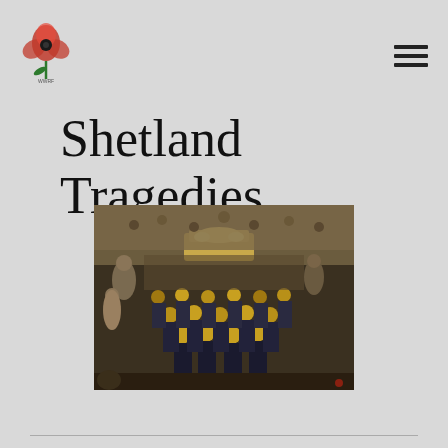Shetland Tragedies - header with poppy logo and hamburger menu
Shetland Tragedies
[Figure (photo): A historical black-and-white/sepia photograph of a funeral procession, showing sailors in dark uniforms and yellow straw hats carrying a coffin adorned with flowers, surrounded by a large crowd of mourners.]